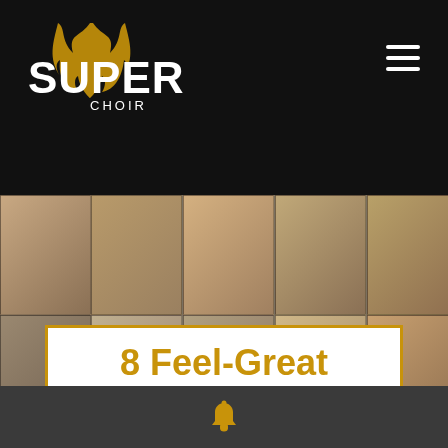Super Choir
[Figure (photo): Collage grid of choir members singing via video call]
3rd June 2021
8 Feel-Great Reasons to Sing Every Day
Bell notification icon